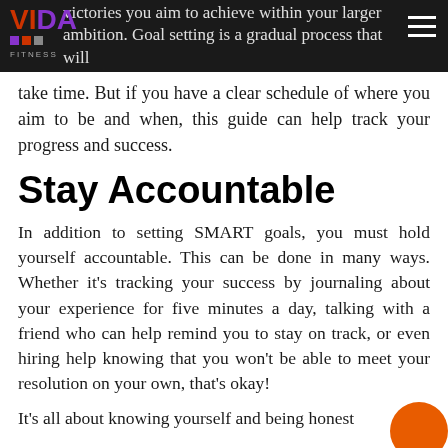victories you aim to achieve within your larger ambition. Goal setting is a gradual process that will
take time. But if you have a clear schedule of where you aim to be and when, this guide can help track your progress and success.
Stay Accountable
In addition to setting SMART goals, you must hold yourself accountable. This can be done in many ways. Whether it's tracking your success by journaling about your experience for five minutes a day, talking with a friend who can help remind you to stay on track, or even hiring help knowing that you won't be able to meet your resolution on your own, that's okay!
It's all about knowing yourself and being honest